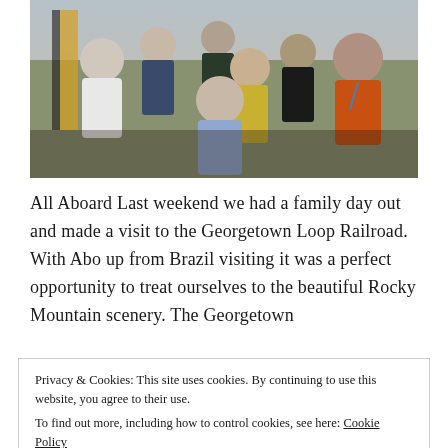[Figure (photo): A group of people posing together outdoors, likely at the Georgetown Loop Railroad. Seven individuals including adults and children. Background shows trees and structures.]
All Aboard Last weekend we had a family day out and made a visit to the Georgetown Loop Railroad. With Abo up from Brazil visiting it was a perfect opportunity to treat ourselves to the beautiful Rocky Mountain scenery. The Georgetown
Privacy & Cookies: This site uses cookies. By continuing to use this website, you agree to their use.
To find out more, including how to control cookies, see here: Cookie Policy
Close and accept
Continue Reading